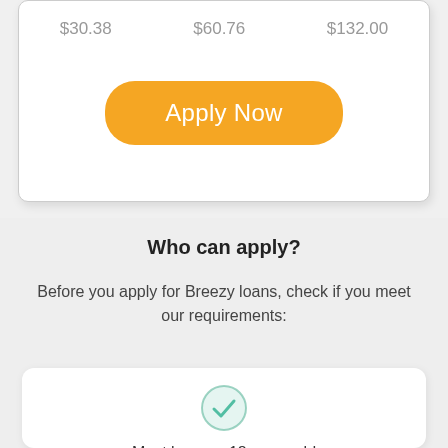$30.38   $60.76   $132.00
Apply Now
Who can apply?
Before you apply for Breezy loans, check if you meet our requirements:
[Figure (illustration): Green checkmark circle icon]
Must be over 18 years old